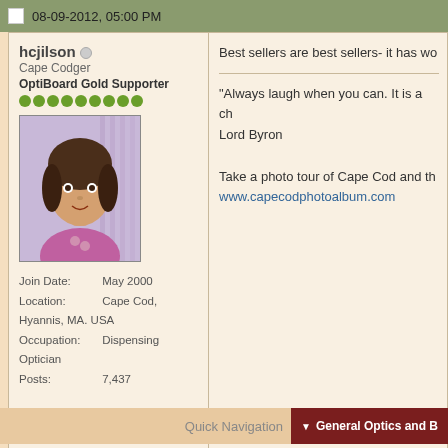08-09-2012, 05:00 PM
hcjilson
Cape Codger
OptiBoard Gold Supporter
[Figure (photo): Profile photo of a young girl in a pink/purple outfit]
Join Date: May 2000
Location: Cape Cod, Hyannis, MA. USA
Occupation: Dispensing Optician
Posts: 7,437
Best sellers are best sellers- it has wo
"Always laugh when you can. It is a ch...
Lord Byron

Take a photo tour of Cape Cod and th...
www.capecodphotoalbum.com
Quick Navigation  ▼ General Optics and B